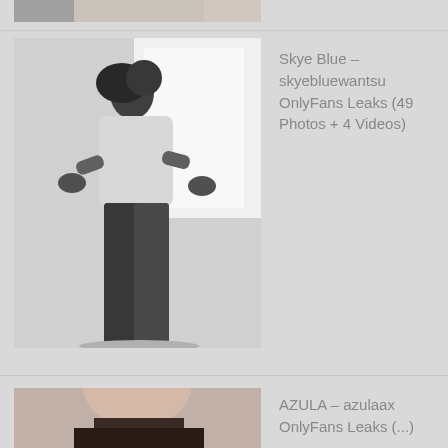[Figure (photo): Partial top strip of a photo cut off at top of page]
[Figure (photo): Black and white photo of a woman in a sheer white top and dark pants posing in a bright studio]
Skye Blue – skyebluewantsu OnlyFans Leaks (49 Photos + 4 Videos)
[Figure (photo): Bottom cropped photo showing a person, partially visible]
AZULA – azulaax OnlyFans Leaks (...)